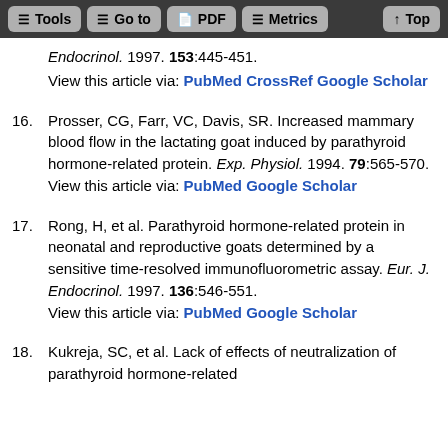Tools | Go to | PDF | Metrics | Top
Endocrinol. 1997. 153:445-451.
View this article via: PubMed CrossRef Google Scholar
16. Prosser, CG, Farr, VC, Davis, SR. Increased mammary blood flow in the lactating goat induced by parathyroid hormone-related protein. Exp. Physiol. 1994. 79:565-570.
View this article via: PubMed Google Scholar
17. Rong, H, et al. Parathyroid hormone-related protein in neonatal and reproductive goats determined by a sensitive time-resolved immunofluorometric assay. Eur. J. Endocrinol. 1997. 136:546-551.
View this article via: PubMed Google Scholar
18. Kukreja, SC, et al. Lack of effects of neutralization of parathyroid hormone-related